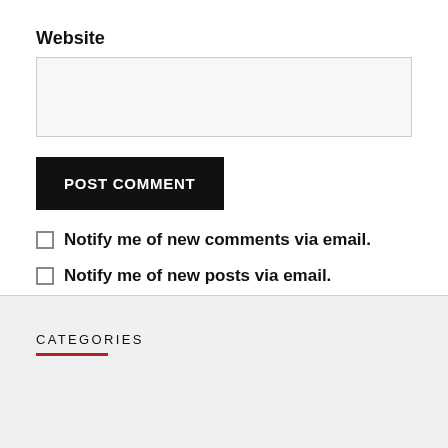Website
[Figure (other): Empty text input box for website URL]
POST COMMENT
Notify me of new comments via email.
Notify me of new posts via email.
CATEGORIES